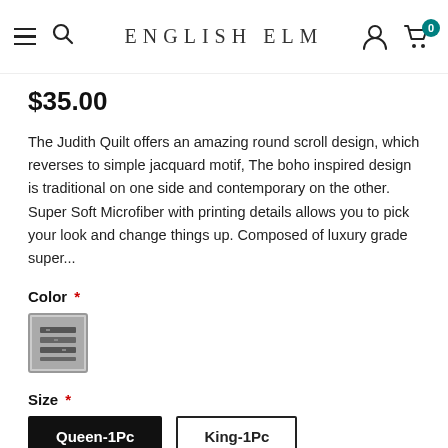ENGLISH ELM
$35.00
The Judith Quilt offers an amazing round scroll design, which reverses to simple jacquard motif, The boho inspired design is traditional on one side and contemporary on the other. Super Soft Microfiber with printing details allows you to pick your look and change things up. Composed of luxury grade super...
Color *
[Figure (photo): Color swatch thumbnail showing a grey/dark patterned quilt fabric]
Size *
Queen-1Pc  King-1Pc
Quantity: